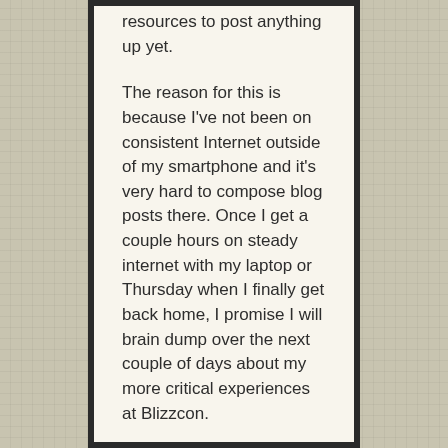resources to post anything up yet.

The reason for this is because I've not been on consistent Internet outside of my smartphone and it's very hard to compose blog posts there. Once I get a couple hours on steady internet with my laptop or Thursday when I finally get back home, I promise I will brain dump over the next couple of days about my more critical experiences at Blizzcon.